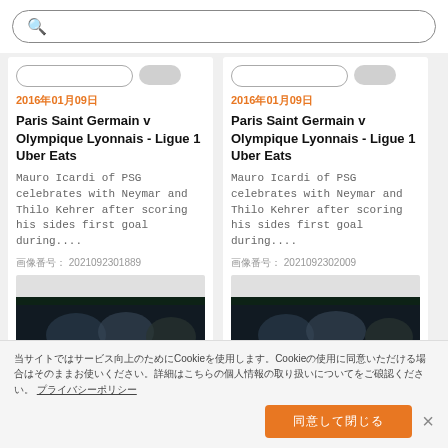[Figure (screenshot): Search bar with magnifying glass icon and placeholder text (Japanese characters)]
2016年01月09日
Paris Saint Germain v Olympique Lyonnais - Ligue 1 Uber Eats
Mauro Icardi of PSG celebrates with Neymar and Thilo Kehrer after scoring his sides first goal during....
画像番号: 2021092301889
2016年01月09日
Paris Saint Germain v Olympique Lyonnais - Ligue 1 Uber Eats
Mauro Icardi of PSG celebrates with Neymar and Thilo Kehrer after scoring his sides first goal during....
画像番号: 2021092302009
[Figure (photo): Soccer players celebrating, dark background, left card]
[Figure (photo): Soccer players celebrating, dark background, right card]
当サイトではサービス向上のためにCookieを使用します。Cookieの使用に同意いただける場合はそのままお使いください。詳細はこちらの個人情報の取り扱いについてをご確認ください。 プライバシーポリシー
同意して閉じる